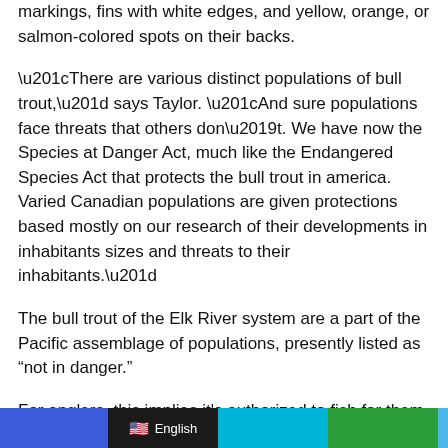markings, fins with white edges, and yellow, orange, or salmon-colored spots on their backs.
“There are various distinct populations of bull trout,” says Taylor. “And sure populations face threats that others don’t. We have now the Species at Danger Act, much like the Endangered Species Act that protects the bull trout in america. Varied Canadian populations are given protections based mostly on our research of their developments in inhabitants sizes and threats to their inhabitants.”
The bull trout of the Elk River system are a part of the Pacific assemblage of populations, presently listed as “not in danger.”
For anglers, this implies it’s authorized to fish for them in accordance with provincial laws, together with the usage of
English